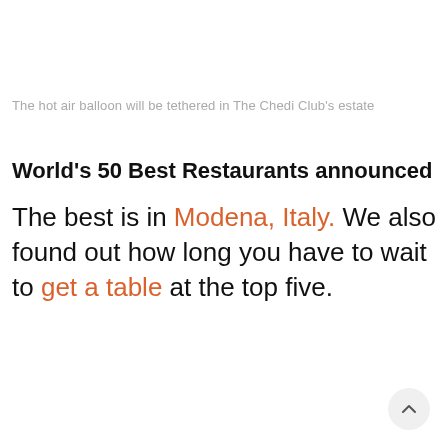The hot air balloon will be tethered in The Chedi Club's estate
World's 50 Best Restaurants announced
The best is in Modena, Italy. We also found out how long you have to wait to get a table at the top five.